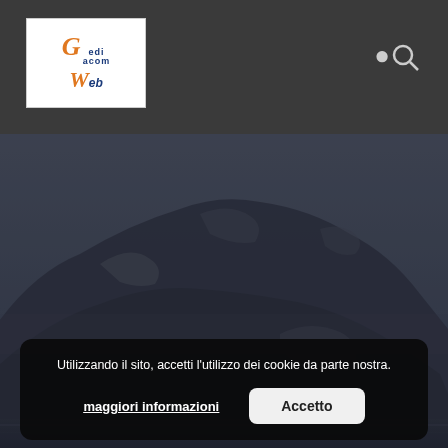GediAcom Web - website header with logo and search icon
[Figure (photo): Dark moody photograph of a large rocky mountain/cliff face with hazy atmosphere, muted blue-grey tones, water visible at bottom]
Utilizzando il sito, accetti l'utilizzo dei cookie da parte nostra.
maggiori informazioni
Accetto